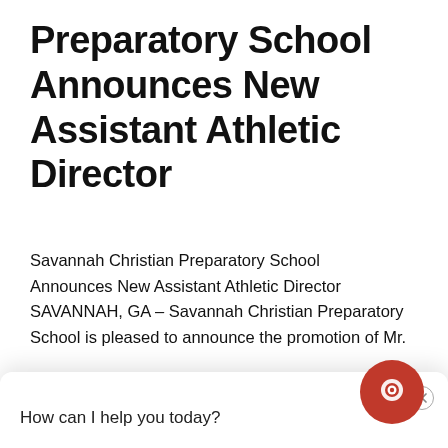Preparatory School Announces New Assistant Athletic Director
Savannah Christian Preparatory School Announces New Assistant Athletic Director SAVANNAH, GA – Savannah Christian Preparatory School is pleased to announce the promotion of Mr. Head Football...
[Figure (screenshot): Chat popup widget with close button and message 'How can I help you today?' with a speech bubble tail, and a red circular chat icon in bottom right]
Read more